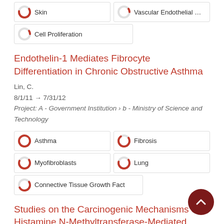Skin
Vascular Endothelial Growth Factor
Cell Proliferation
Endothelin-1 Mediates Fibrocyte Differentiation in Chronic Obstructive Asthma
Lin, C.
8/1/11 → 7/31/12
Project: A - Government Institution › b - Ministry of Science and Technology
Asthma
Fibrosis
Myofibroblasts
Lung
Connective Tissue Growth Factor
Studies on the Carcinogenic Mechanisms of Histamine N-Methyltransferase-Mediated Breast Cancer Formation